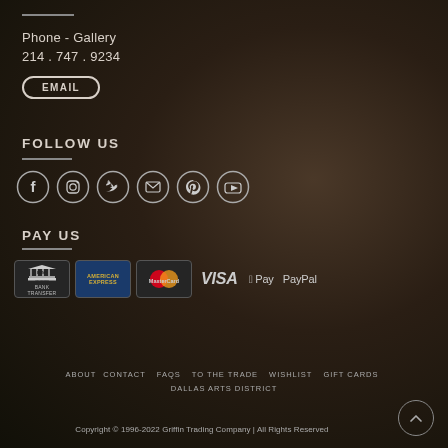Phone - Gallery
214 . 747 . 9234
EMAIL
FOLLOW US
[Figure (infographic): Social media icons: Facebook, Instagram, Twitter, Email, Pinterest, YouTube]
PAY US
[Figure (infographic): Payment method icons: Bank Transfer, American Express, MasterCard, VISA, Apple Pay, PayPal]
ABOUT   CONTACT   FAQS   TO THE TRADE   WISHLIST   GIFT CARDS
DALLAS ARTS DISTRICT
Copyright © 1996-2022 Griffin Trading Company | All Rights Reserved